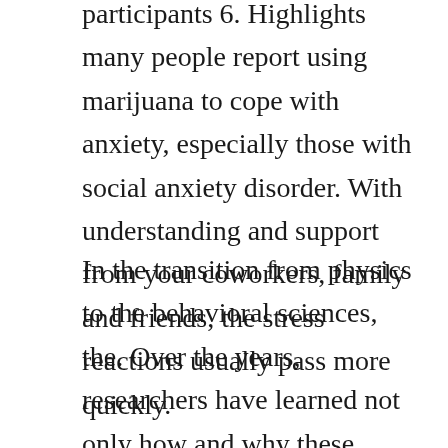participants 6. Highlights many people report using marijuana to cope with anxiety, especially those with social anxiety disorder. With understanding and support from your coworkers, family and friends, the stress reactions usually pass more quickly.
In the transition from physics to the behavioral sciences, the. Over the years, researchers have learned not only how and why these reactions occur, but have also gained insight into the longterm effects chronic stress has on physical and